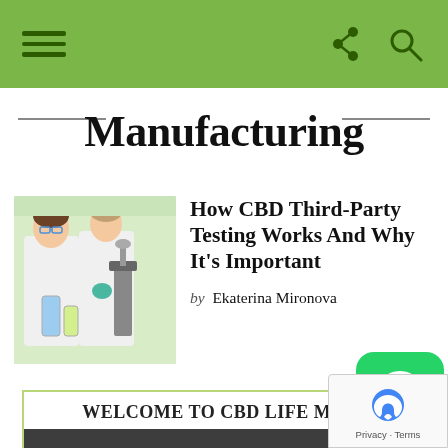Navigation bar with hamburger menu, share and search icons
Manufacturing
[Figure (photo): Two female scientists in white lab coats working with laboratory equipment, microscope and chemical tubes]
How CBD Third-Party Testing Works And Why It's Important
by Ekaterina Mironova
WELCOME TO CBD LIFE MAG!
[Figure (screenshot): Dark grey video player rectangle placeholder]
[Figure (logo): WhatsApp green rounded square icon with phone handset]
[Figure (screenshot): reCAPTCHA privacy terms overlay with google logo]